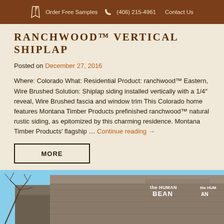Order Free Samples  (406) 215-4961  Contact Us
RANCHWOOD™ VERTICAL SHIPLAP
Posted on December 27, 2016
Where: Colorado What: Residential Product: ranchwood™ Eastern, Wire Brushed Solution: Shiplap siding installed vertically with a 1/4″ reveal, Wire Brushed fascia and window trim This Colorado home features Montana Timber Products prefinished ranchwood™ natural rustic siding, as epitomized by this charming residence. Montana Timber Products' flagship … Continue reading →
MORE
[Figure (photo): Bottom portion of page showing exterior of a building with blue sky and trees; signage reading 'the HUMAN BEAN']